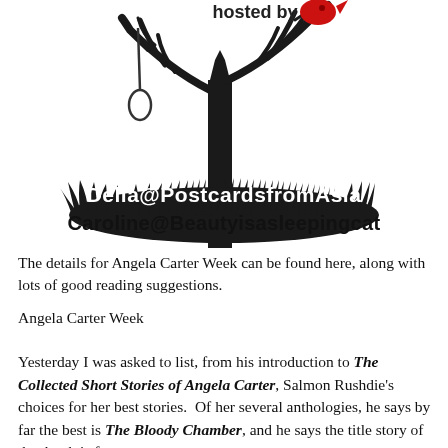[Figure (illustration): Decorative illustration of a bare tree with a hangman's noose on the left branch and a red bird/fox figure on the right branch. At the base of the tree is dark grass/ground. Overlaid text reads 'hosted by' at the top, 'Delia@PostcardsfromAsia' and 'Caroline@Beautyisasleepingcat' at the bottom.]
The details for Angela Carter Week can be found here, along with lots of good reading suggestions.
Angela Carter Week
Yesterday I was asked to list, from his introduction to The Collected Short Stories of Angela Carter, Salmon Rushdie's choices for her best stories.  Of her several anthologies, he says by far the best is The Bloody Chamber, and he says the title story of that book is for sure